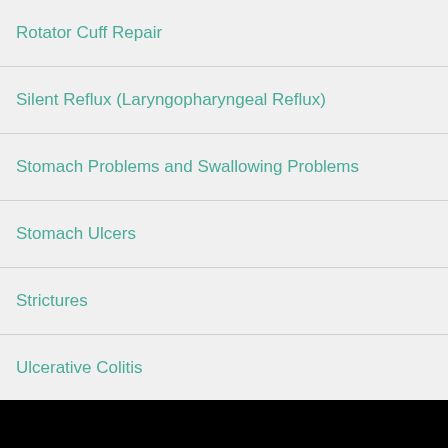Rotator Cuff Repair
Silent Reflux (Laryngopharyngeal Reflux)
Stomach Problems and Swallowing Problems
Stomach Ulcers
Strictures
Ulcerative Colitis